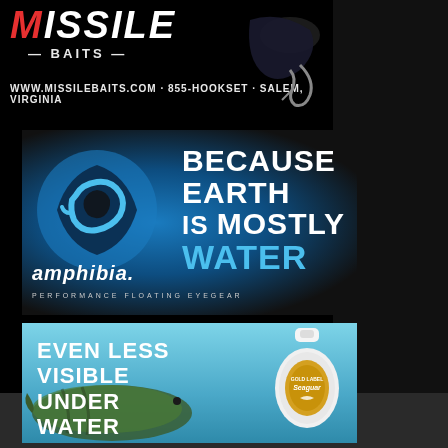[Figure (illustration): Missile Baits advertisement with logo text 'MISSILE BAITS' and URL 'WWW.MISSILEBAITS.COM · 855-HOOKSET · SALEM, VIRGINIA' on black background with fishing lure image]
[Figure (illustration): Amphibia Performance Floating Eyegear advertisement with blue logo and tagline 'BECAUSE EARTH IS MOSTLY WATER' on dark background]
[Figure (illustration): Seaguar Gold Label fluorocarbon fishing line advertisement with tagline 'EVEN LESS VISIBLE UNDER WATER' showing spool and fish underwater]